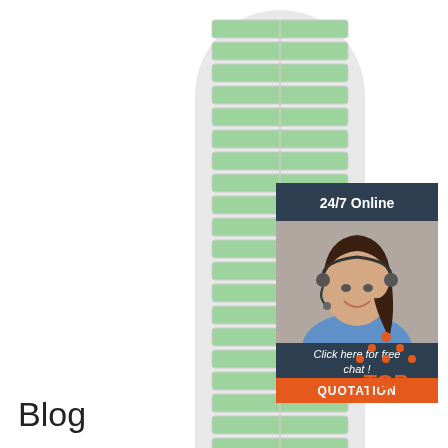[Figure (photo): Tall cylindrical tower fan/air cooler with green filter panels and white frame, photographed against white background]
[Figure (infographic): 24/7 Online chat widget with dark blue header reading '24/7 Online', photo of smiling female customer service agent with headset, text 'Click here for free chat!' and orange QUOTATION button]
[Figure (logo): TOP logo with orange dots forming a triangle/house shape above bold orange text 'TOP']
Blog